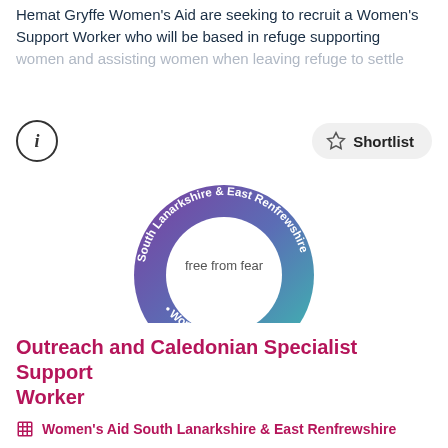Hemat Gryffe Women's Aid are seeking to recruit a Women's Support Worker who will be based in refuge supporting women and assisting women when leaving refuge to settle
[Figure (logo): South Lanarkshire & East Renfrewshire Women's Aid circular logo with text around the ring and 'free from fear' in the centre. Gradient from purple to teal.]
Outreach and Caledonian Specialist Support Worker
Women's Aid South Lanarkshire & East Renfrewshire